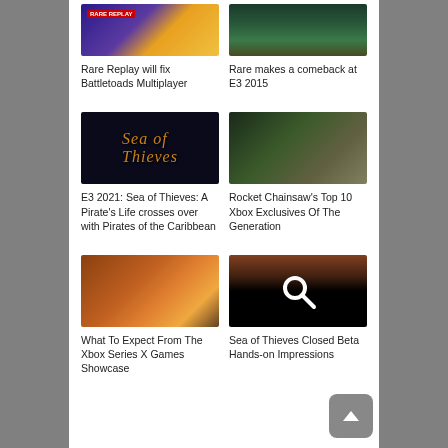[Figure (screenshot): Rare Replay game screenshot with colorful characters]
[Figure (screenshot): Rare E3 2015 dark interior screenshot]
Rare Replay will fix Battletoads Multiplayer
Rare makes a comeback at E3 2015
[Figure (screenshot): Sea of Thieves dark title logo screen]
[Figure (screenshot): Rocket Chainsaw Top 10 Xbox car racing screenshot]
E3 2021: Sea of Thieves: A Pirate's Life crosses over with Pirates of the Caribbean
Rocket Chainsaw's Top 10 Xbox Exclusives Of The Generation
[Figure (screenshot): Xbox Series X Games Showcase forest scene with figure]
[Figure (screenshot): Sea of Thieves Closed Beta - search icon on dark background]
What To Expect From The Xbox Series X Games Showcase
Sea of Thieves Closed Beta Hands-on Impressions